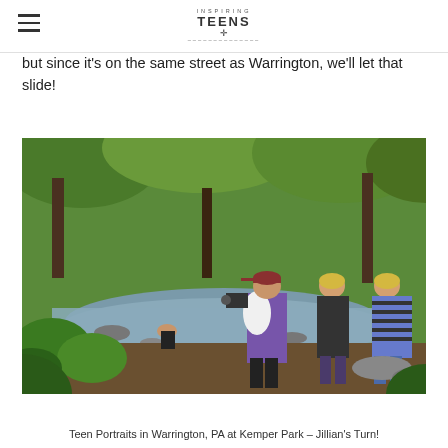Inspiring Teens
but since it’s on the same street as Warrington, we’ll let that slide!
[Figure (photo): Outdoor photo shoot at a creek/stream in a wooded park. Three people stand on the bank watching a photographer (wearing a purple shirt, baseball cap, and carrying a white towel over their shoulder) photograph a teen girl sitting in the shallow water surrounded by lush green foliage and trees.]
Teen Portraits in Warrington, PA at Kemper Park – Jillian’s Turn!